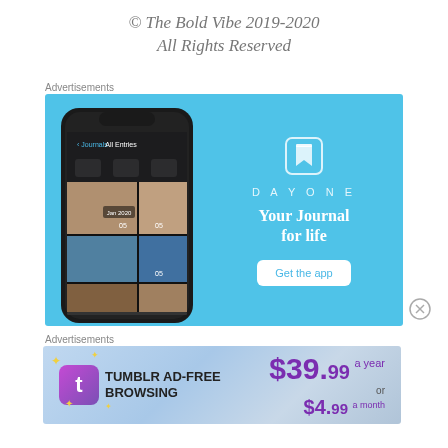© The Bold Vibe 2019-2020
All Rights Reserved
Advertisements
[Figure (illustration): DayOne app advertisement with blue background showing a smartphone with journal photos and the text 'DAYONE — Your Journal for life' with a 'Get the app' button]
Advertisements
[Figure (illustration): Tumblr Ad-Free Browsing advertisement showing the Tumblr logo and pricing: $39.99 a year or $4.99 a month]